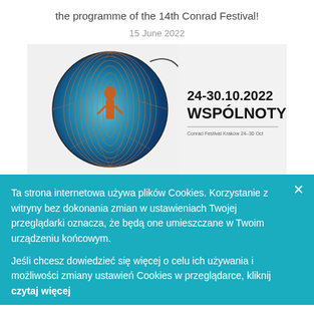the programme of the 14th Conrad Festival!
15 June 2022
[Figure (illustration): Festival promotional image showing a circular globe-like artwork with spiral patterns and an orange figure in the center on a blue gradient background. Text reads: 24-30.10.2022 WSPÓLNOTY]
Ta strona internetowa używa plików Cookies. Korzystanie z witryny bez dokonania zmian w ustawieniach Twojej przeglądarki oznacza, że będą one umieszczane w Twoim urządzeniu końcowym.
Jeśli chcesz dowiedzieć się więcej o celu ich używania i możliwości zmiany ustawień Cookies w przeglądarce, kliknij czytaj więcej